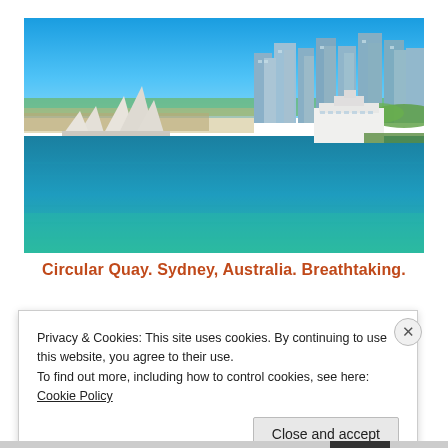[Figure (photo): Aerial photograph of Circular Quay, Sydney, Australia, showing the Sydney Opera House on the left, the city skyline with tall buildings in the background, a cruise ship docked at the right, and the blue harbor waters in the foreground.]
Circular Quay. Sydney, Australia. Breathtaking.
Privacy & Cookies: This site uses cookies. By continuing to use this website, you agree to their use.
To find out more, including how to control cookies, see here: Cookie Policy